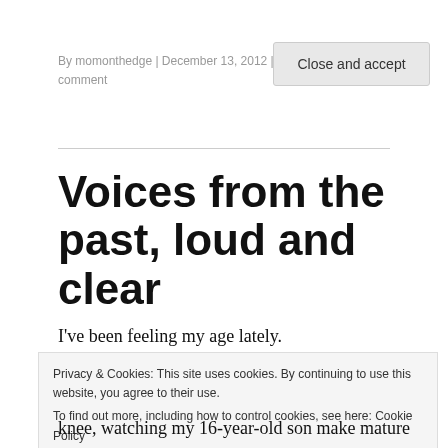By momonthedge | December 13, 2012 | 487 Words | Leave a comment
Voices from the past, loud and clear
I've been feeling my age lately.
Privacy & Cookies: This site uses cookies. By continuing to use this website, you agree to their use.
To find out more, including how to control cookies, see here: Cookie Policy
Close and accept
knee, watching my 16-year-old son make mature